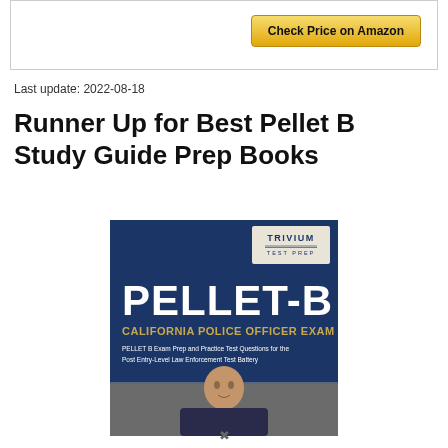[Figure (other): Check Price on Amazon button inside a bordered box]
Last update: 2022-08-18
Runner Up for Best Pellet B Study Guide Prep Books
[Figure (photo): Book cover: PELLET-B California Police Officer Exam by Trivium Test Prep. Dark blue background with large white PELLET-B text, gold subtitle 'CALIFORNIA POLICE OFFICER EXAM', and smaller white subtitle text 'PELLET B Exam Prep and Practice Test Questions for the Post Entry-Level Law Enforcement Test Battery'. Bottom portion shows a man in a police uniform.]